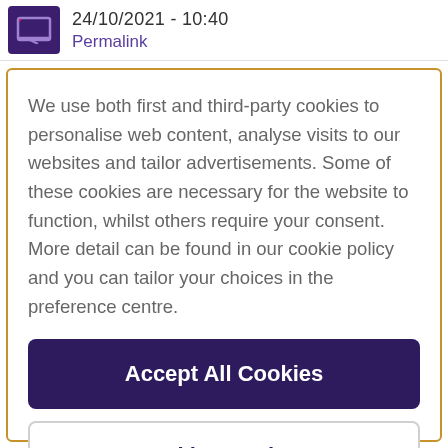24/10/2021 - 10:40
Permalink
We use both first and third-party cookies to personalise web content, analyse visits to our websites and tailor advertisements. Some of these cookies are necessary for the website to function, whilst others require your consent. More detail can be found in our cookie policy and you can tailor your choices in the preference centre.
Accept All Cookies
Cookies Settings